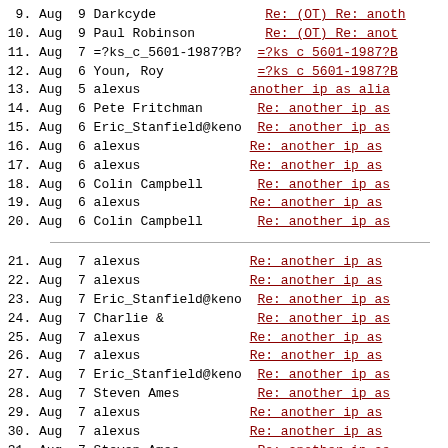9. Aug  9 Darkcyde   Re: (OT) Re: anoth
10. Aug  9 Paul Robinson   Re: (OT) Re: anoth
11. Aug  7 =?ks_c_5601-1987?B?   =?ks c 5601-1987?B
12. Aug  6 Youn, Roy   =?ks c 5601-1987?B
13. Aug  5 alexus   another ip as alia
14. Aug  6 Pete Fritchman   Re: another ip as
15. Aug  6 Eric_Stanfield@keno   Re: another ip as
16. Aug  6 alexus   Re: another ip as
17. Aug  6 alexus   Re: another ip as
18. Aug  6 Colin Campbell   Re: another ip as
19. Aug  6 alexus   Re: another ip as
20. Aug  6 Colin Campbell   Re: another ip as
21. Aug  7 alexus   Re: another ip as
22. Aug  7 alexus   Re: another ip as
23. Aug  7 Eric_Stanfield@keno   Re: another ip as
24. Aug  7 Charlie &   Re: another ip as
25. Aug  7 alexus   Re: another ip as
26. Aug  7 alexus   Re: another ip as
27. Aug  7 Eric_Stanfield@keno   Re: another ip as
28. Aug  7 Steven Ames   Re: another ip as
29. Aug  7 alexus   Re: another ip as
30. Aug  7 alexus   Re: another ip as
31. Aug  7 Steven Ames   Re: another ip as
32. Aug  7 alexus   Re: another ip as
33. Aug  7 Steven Ames   Re: another ip as